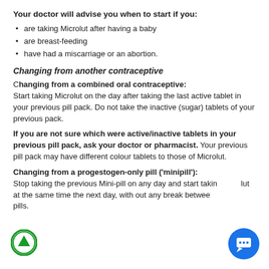Your doctor will advise you when to start if you:
are taking Microlut after having a baby
are breast-feeding
have had a miscarriage or an abortion.
Changing from another contraceptive
Changing from a combined oral contraceptive: Start taking Microlut on the day after taking the last active tablet in your previous pill pack. Do not take the inactive (sugar) tablets of your previous pack.
If you are not sure which were active/inactive tablets in your previous pill pack, ask your doctor or pharmacist. Your previous pill pack may have different colour tablets to those of Microlut.
Changing from a progestogen-only pill ('minipill'): Stop taking the previous Mini-pill on any day and start taking Microlut at the same time the next day, with out any break between pills.